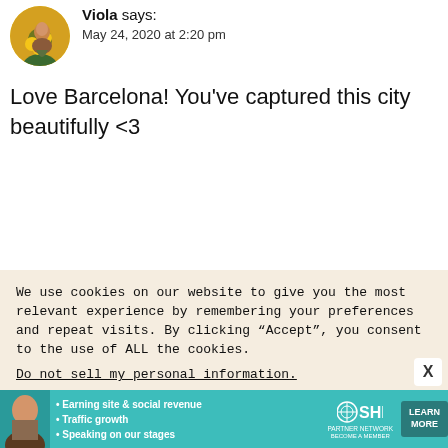[Figure (photo): Circular avatar photo of a person in a sunflower field]
Viola says:
May 24, 2020 at 2:20 pm
Love Barcelona! You’ve captured this city beautifully <3
Reply
We use cookies on our website to give you the most relevant experience by remembering your preferences and repeat visits. By clicking “Accept”, you consent to the use of ALL the cookies.
Do not sell my personal information.
[Figure (infographic): SHE Media Partner Network advertisement banner with text: Earning site & social revenue, Traffic growth, Speaking on our stages, LEARN MORE]